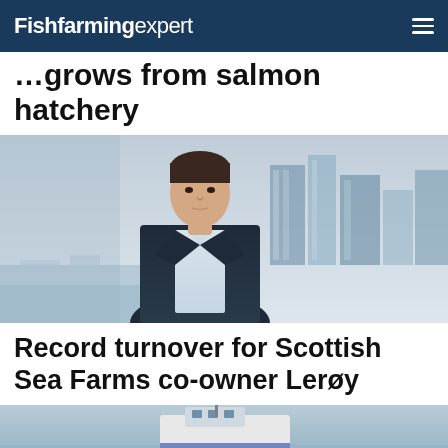Fishfarming expert
…grows from salmon hatchery
[Figure (photo): Portrait photo of a man in a dark blazer and light shirt, standing outdoors with a marina and modern buildings in the background]
Record turnover for Scottish Sea Farms co-owner Lerøy
[Figure (photo): Partial view of a boat or vessel on water, partially visible at bottom of page]